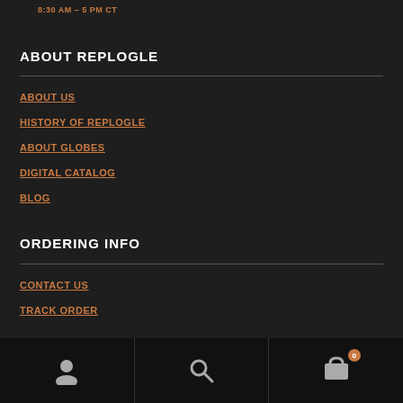8:30 AM – 5 PM CT
ABOUT REPLOGLE
ABOUT US
HISTORY OF REPLOGLE
ABOUT GLOBES
DIGITAL CATALOG
BLOG
ORDERING INFO
CONTACT US
TRACK ORDER
User icon | Search icon | Cart icon (0)